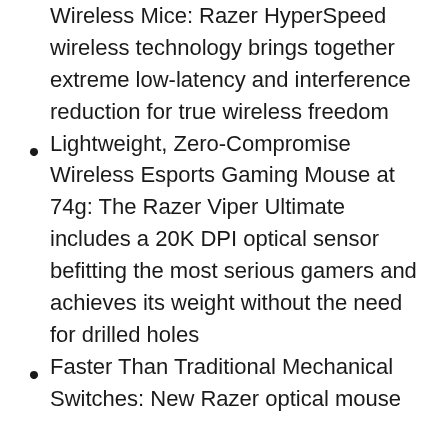Wireless Mice: Razer HyperSpeed wireless technology brings together extreme low-latency and interference reduction for true wireless freedom
Lightweight, Zero-Compromise Wireless Esports Gaming Mouse at 74g: The Razer Viper Ultimate includes a 20K DPI optical sensor befitting the most serious gamers and achieves its weight without the need for drilled holes
Faster Than Traditional Mechanical Switches: New Razer optical mouse